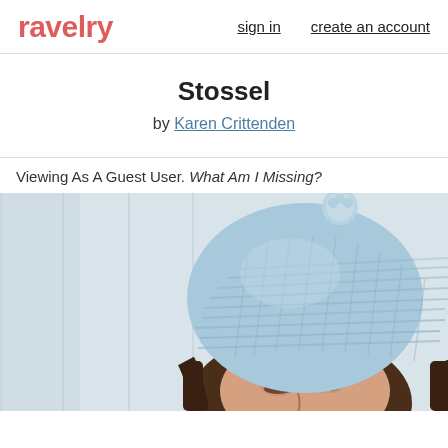ravelry   sign in   create an account
Stossel
by Karen Crittenden
Viewing As A Guest User. What Am I Missing?
[Figure (photo): Person wearing a light blue textured knit beanie hat with a pompom on top, looking downward, photographed against a light background with vertical plank texture.]